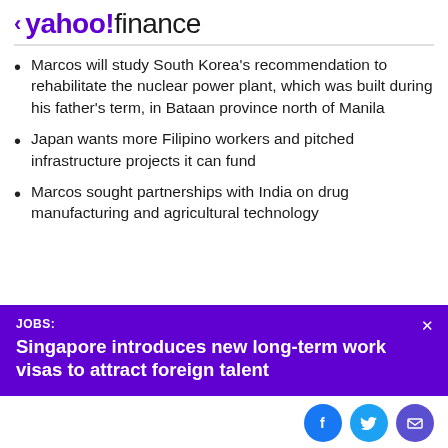< yahoo!finance
Marcos will study South Korea's recommendation to rehabilitate the nuclear power plant, which was built during his father's term, in Bataan province north of Manila
Japan wants more Filipino workers and pitched infrastructure projects it can fund
Marcos sought partnerships with India on drug manufacturing and agricultural technology
JOBS: Singapore introduces new long-term work visas to attract foreign talent